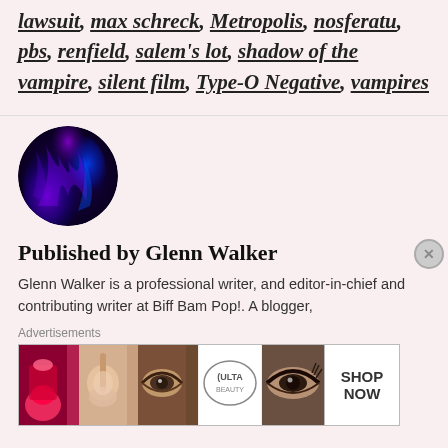lawsuit, max schreck, Metropolis, nosferatu, pbs, renfield, salem's lot, shadow of the vampire, silent film, Type-O Negative, vampires
[Figure (photo): Circular avatar image showing abstract purple and blue flame or smoke pattern on dark background]
Published by Glenn Walker
Glenn Walker is a professional writer, and editor-in-chief and contributing writer at Biff Bam Pop!. A blogger,
Advertisements
[Figure (photo): ULTA Beauty advertisement banner with makeup product images including red lipstick, brush, eye, ULTA logo, and eye closeup with SHOP NOW text]